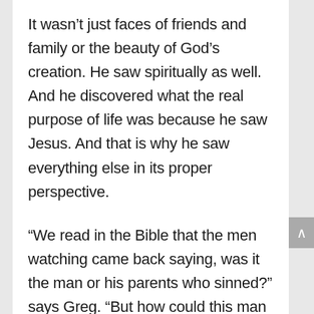It wasn't just faces of friends and family or the beauty of God's creation. He saw spiritually as well. And he discovered what the real purpose of life was because he saw Jesus. And that is why he saw everything else in its proper perspective.
“We read in the Bible that the men watching came back saying, was it the man or his parents who sinned?” says Greg. “But how could this man have sinned if he was blind from birth? And the reason this question was asked is